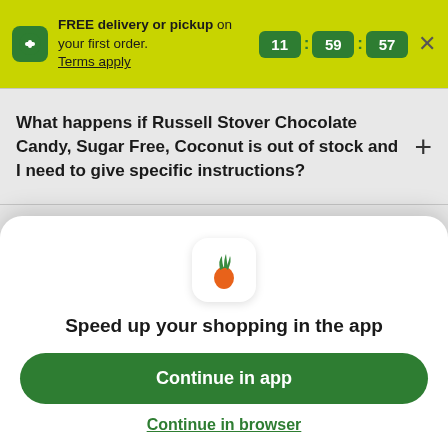FREE delivery or pickup on your first order. Terms apply. 11 : 59 : 57
What happens if Russell Stover Chocolate Candy, Sugar Free, Coconut is out of stock and I need to give specific instructions?
What happens if there is an issue with my order?
Is Russell Stover Chocolate Candy...
[Figure (logo): Instacart carrot app icon]
Speed up your shopping in the app
Continue in app
Continue in browser